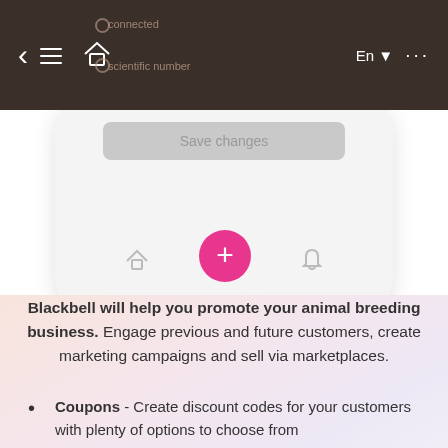[Figure (screenshot): Mobile app browser navigation bar with back arrow, hamburger menu, home icon, language selector 'En' with dropdown, and ellipsis menu on dark brown background. Below is a smartphone mockup showing a 'Save changes' button and a bottom navigation bar with home icon, pink plus button, and bell icon.]
Blackbell will help you promote your animal breeding business. Engage previous and future customers, create marketing campaigns and sell via marketplaces.
Coupons - Create discount codes for your customers with plenty of options to choose from